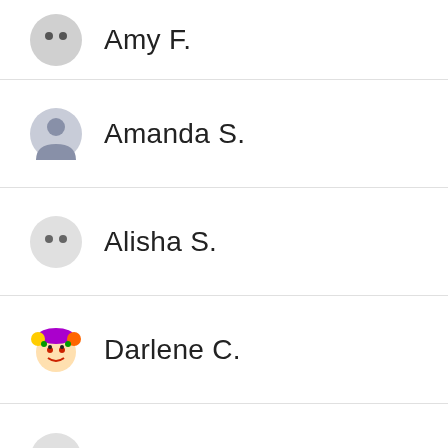Amy F.
Amanda S.
Alisha S.
Darlene C.
Ann L.